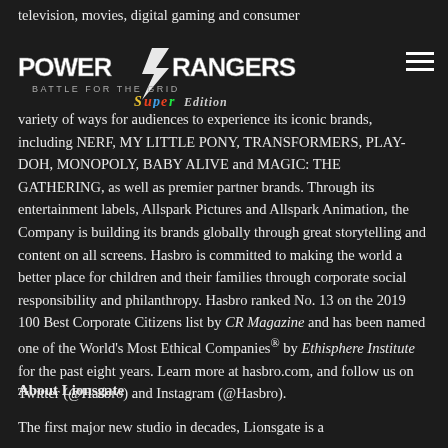television, movies, digital gaming and consumer
[Figure (logo): Power Rangers Battle for the Grid Super Edition logo — stylized white/silver text on dark background with lightning bolt emblem]
variety of ways for audiences to experience its iconic brands, including NERF, MY LITTLE PONY, TRANSFORMERS, PLAY-DOH, MONOPOLY, BABY ALIVE and MAGIC: THE GATHERING, as well as premier partner brands. Through its entertainment labels, Allspark Pictures and Allspark Animation, the Company is building its brands globally through great storytelling and content on all screens. Hasbro is committed to making the world a better place for children and their families through corporate social responsibility and philanthropy. Hasbro ranked No. 13 on the 2019 100 Best Corporate Citizens list by CR Magazine and has been named one of the World's Most Ethical Companies® by Ethisphere Institute for the past eight years. Learn more at hasbro.com, and follow us on Twitter (@Hasbro) and Instagram (@Hasbro).
About Lionsgate
The first major new studio in decades, Lionsgate is a